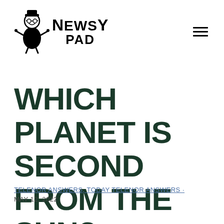[Figure (logo): NewsyPad logo with cartoon figure and bold text NEWSY PAD]
WHICH PLANET IS SECOND FROM THE SUN?
TELENOR ANSWERS, TODAY TELENOR ANSWERS · MAY 12, 2022